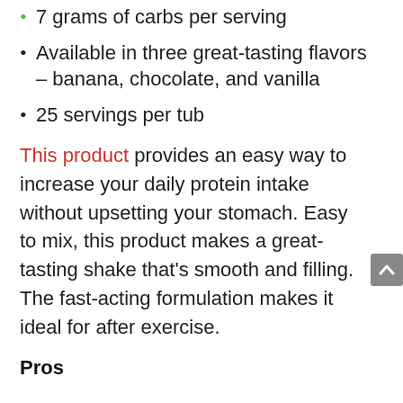7 grams of carbs per serving
Available in three great-tasting flavors – banana, chocolate, and vanilla
25 servings per tub
This product provides an easy way to increase your daily protein intake without upsetting your stomach. Easy to mix, this product makes a great-tasting shake that's smooth and filling. The fast-acting formulation makes it ideal for after exercise.
Pros